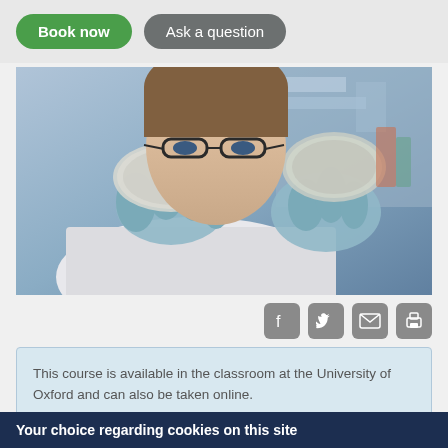Book now
Ask a question
[Figure (photo): A scientist wearing blue latex gloves and glasses holds up two petri dishes in a laboratory setting, examining them closely.]
[Figure (infographic): Social sharing icons: Facebook, Twitter, Email, Print]
This course is available in the classroom at the University of Oxford and can also be taken online.
Overview
Your choice regarding cookies on this site